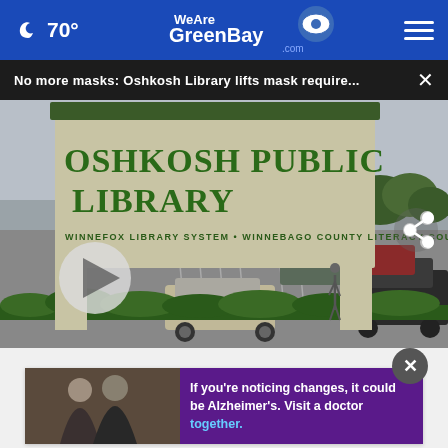70° WeAreGreenBay.com
No more masks: Oshkosh Library lifts mask require...
[Figure (photo): Exterior photo of Oshkosh Public Library sign reading 'OSHKOSH PUBLIC LIBRARY / WINNEFOX LIBRARY SYSTEM • WINNEBAGO COUNTY LITERACY COUNCIL' with parking lot and trees in background]
If you're noticing changes, it could be Alzheimer's. Visit a doctor together.